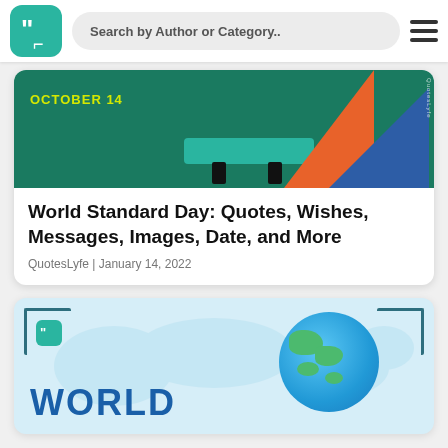Search by Author or Category..
[Figure (illustration): Article header image with dark green background showing OCTOBER 14 label, drafting/ruler tools in teal, orange triangle, blue triangle, and QuotesLyfe watermark]
World Standard Day: Quotes, Wishes, Messages, Images, Date, and More
QuotesLyfe | January 14, 2022
[Figure (illustration): Light blue card with world map background, QuotesLyfe logo in corner bracket, globe illustration on right, and large bold text WORLD at the bottom left]